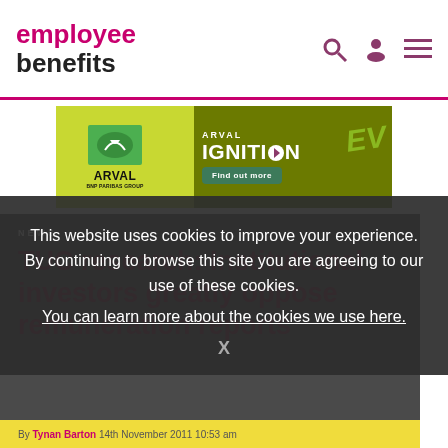employee benefits
[Figure (other): Arval BNP Paribas Group advertisement banner for Arval Ignition EV with Find out more button]
NEWS
TUC research: Institutional investors greatly oppose remuneration reports
This website uses cookies to improve your experience. By continuing to browse this site you are agreeing to our use of these cookies. You can learn more about the cookies we use here.
By Tynan Barton 14th November 2011 10:53 am